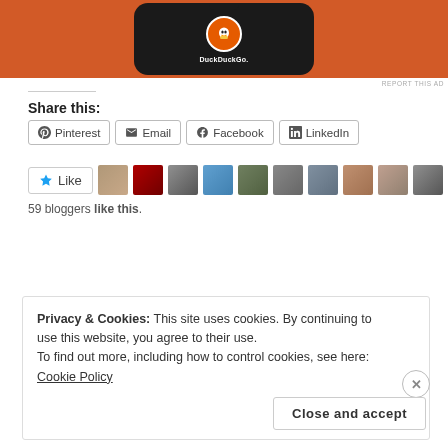[Figure (screenshot): DuckDuckGo advertisement image showing a phone with DuckDuckGo logo on orange background]
REPORT THIS AD
Share this:
Pinterest  Email  Facebook  LinkedIn
[Figure (other): Like button with star icon and blogger avatars row showing 59 bloggers like this]
59 bloggers like this.
Privacy & Cookies: This site uses cookies. By continuing to use this website, you agree to their use.
To find out more, including how to control cookies, see here: Cookie Policy
Close and accept